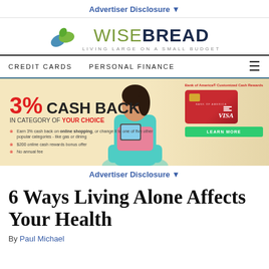Advertiser Disclosure ▼
[Figure (logo): WiseBread logo with leaf icon and tagline LIVING LARGE ON A SMALL BUDGET]
CREDIT CARDS   PERSONAL FINANCE   ≡
[Figure (infographic): Bank of America Customized Cash Rewards credit card advertisement banner: 3% CASH BACK IN CATEGORY OF YOUR CHOICE. Earn 3% cash back on online shopping, or change it to one of five other popular categories - like gas or dining. $200 online cash rewards bonus offer. No annual fee. LEARN MORE button. Shows woman on couch and card image.]
Advertiser Disclosure ▼
6 Ways Living Alone Affects Your Health
By Paul Michael